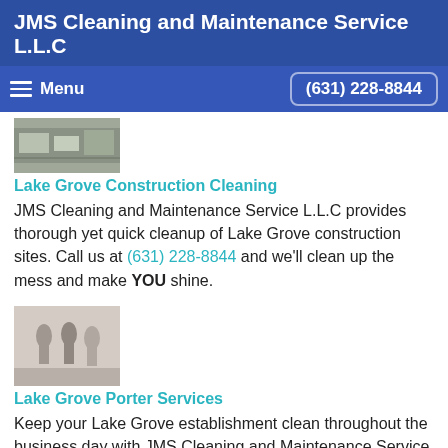JMS Cleaning and Maintenance Service L.L.C
Menu | (631) 228-8844
[Figure (photo): Small thumbnail image of a construction cleaning scene]
Lake Grove Construction Cleaning
JMS Cleaning and Maintenance Service L.L.C provides thorough yet quick cleanup of Lake Grove construction sites. Call us at (631) 228-8844 and we'll clean up the mess and make YOU shine.
[Figure (photo): Black and white photo of workers in a building, porter service scene]
Lake Grove Porter Services
Keep your Lake Grove establishment clean throughout the business day with JMS Cleaning and Maintenance Service L.L.C's exceptional porter service.
[Figure (photo): Black and white photo of a person sweeping a floor with a mop or broom]